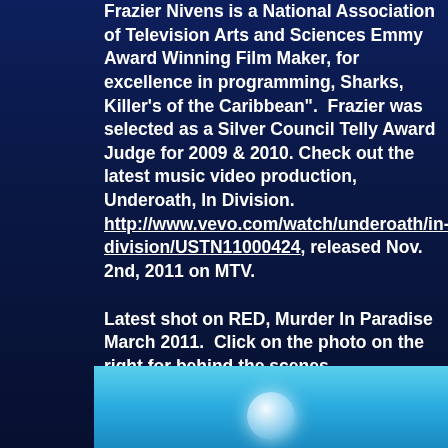Frazier Nivens is a National Association of Television Arts and Sciences Emmy Award Winning Film Maker, for excellence in programming, Sharks, Killer's of the Caribbean".  Frazier was selected as a Silver Council Telly Award Judge for 2009 & 2010.  Check out the latest music video production, Underoath, In Division. http://www.vevo.com/watch/underoath/in-division/USTN11000424, released Nov. 2nd, 2011 on MTV.
Latest shot on RED, Murder In Paradise March 2011.  Click on the photo on the right for behind the scenes photos...photo right frame grab from RED One Cinema camera...model Alisa Basyuk.
[Figure (photo): Underwater photo showing a bubble or jellyfish against a bright blue background, frame grab from RED One Cinema camera]